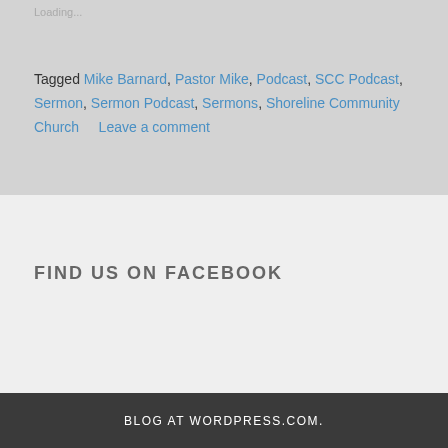Loading...
Tagged Mike Barnard, Pastor Mike, Podcast, SCC Podcast, Sermon, Sermon Podcast, Sermons, Shoreline Community Church   Leave a comment
FIND US ON FACEBOOK
BLOG AT WORDPRESS.COM.